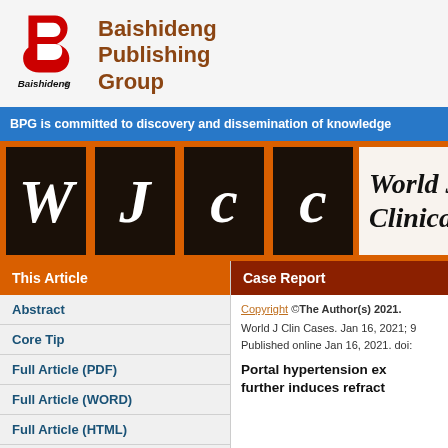[Figure (logo): Baishideng Publishing Group logo with red stylized 'B' letter mark and italic 'Baishideng' wordmark below]
Baishideng Publishing Group
BPG is committed to discovery and dissemination of knowledge
[Figure (logo): WJCC journal banner with four dark letter boxes showing W, J, C, C in white italic script, followed by 'World Journal of Clinical Cases' text]
This Article
Case Report
Abstract
Core Tip
Full Article (PDF)
Full Article (WORD)
Full Article (HTML)
Audio
Copyright ©The Author(s) 2021.
World J Clin Cases. Jan 16, 2021; 9
Published online Jan 16, 2021. doi:
Portal hypertension ex further induces refract